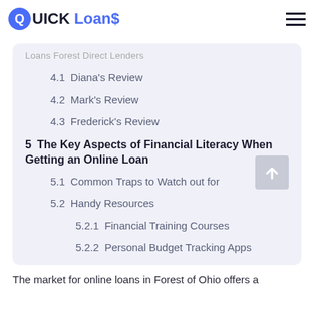QUICK Loans
4.1  Diana's Review
4.2  Mark's Review
4.3  Frederick's Review
5  The Key Aspects of Financial Literacy When Getting an Online Loan
5.1  Common Traps to Watch out for
5.2  Handy Resources
5.2.1  Financial Training Courses
5.2.2  Personal Budget Tracking Apps
5.2.3  Financial Blogs
The market for online loans in Forest of Ohio offers a